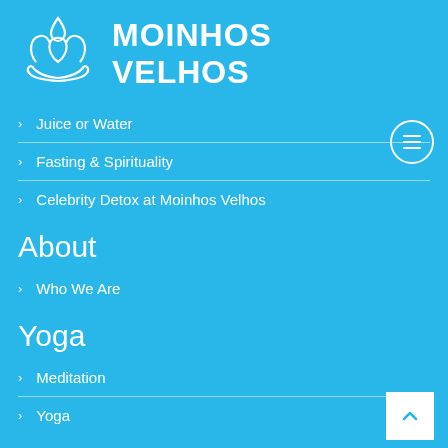[Figure (logo): Moinhos Velhos logo: white lotus/flower with a water droplet above it, followed by bold text MOINHOS VELHOS]
› Juice or Water
› Fasting & Spirituality
› Celebrity Detox at Moinhos Velhos
About
› Who We Are
Yoga
› Meditation
› Yoga